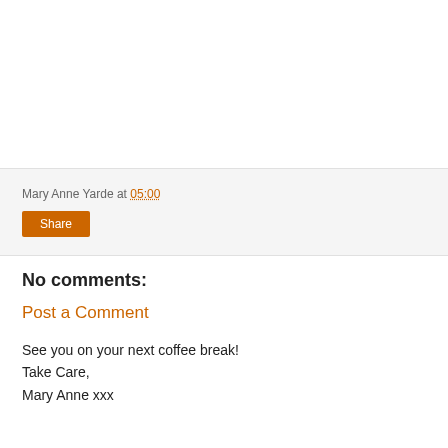Mary Anne Yarde at 05:00
Share
No comments:
Post a Comment
See you on your next coffee break!
Take Care,
Mary Anne xxx